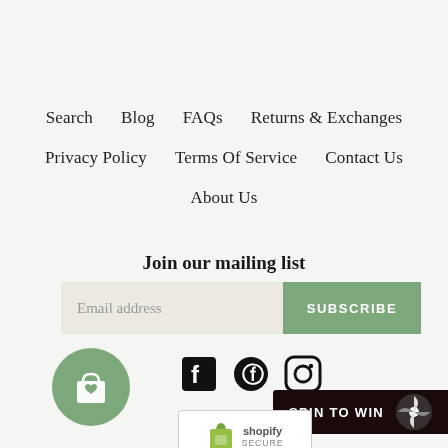Search
Blog
FAQs
Returns & Exchanges
Privacy Policy
Terms Of Service
Contact Us
About Us
Join our mailing list
Email address
SUBSCRIBE
[Figure (infographic): Social media icons: Facebook, Pinterest, Instagram]
[Figure (logo): Green shopping bag with heart icon circle]
[Figure (infographic): Spin To Win button with pinwheel icon]
[Figure (logo): Shopify Secure badge]